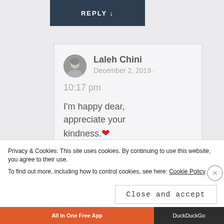[Figure (screenshot): Dark navy REPLY button with downward arrow]
Laleh Chini
December 2, 2019 · 10:17 pm

I'm happy dear, appreciate your kindness.❤
Privacy & Cookies: This site uses cookies. By continuing to use this website, you agree to their use.
To find out more, including how to control cookies, see here: Cookie Policy
Close and accept